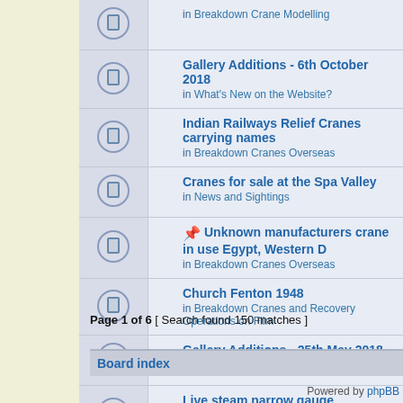Gallery Additions - 6th October 2018 in What's New on the Website?
Indian Railways Relief Cranes carrying names in Breakdown Cranes Overseas
Cranes for sale at the Spa Valley in News and Sightings
Unknown manufacturers crane in use Egypt, Western D in Breakdown Cranes Overseas
Church Fenton 1948 in Breakdown Cranes and Recovery Operations on Film
Gallery Additions - 25th May 2018 in What's New on the Website?
Live steam narrow gauge breakdown crane in Breakdown Crane Modelling
David Austin - Railway Modeller and Invasion 1940 in Introduce Yourself
Display posts from previous: All resu
Page 1 of 6 [ Search found 150 matches ]
Board index
Powered by phpBB